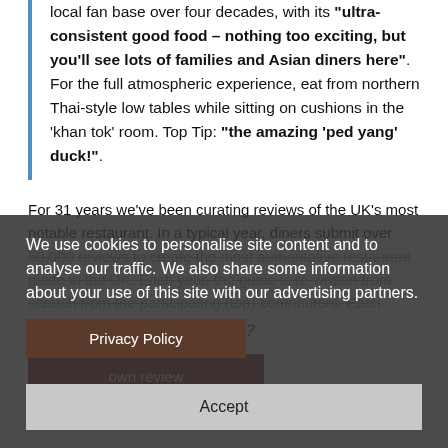This fantastic Thai restaurant has built a large local fan base over four decades, with its "ultra-consistent good food – nothing too exciting, but you'll see lots of families and Asian diners here". For the full atmospheric experience, eat from northern Thai-style low tables while sitting on cushions in the 'khan tok' room. Top Tip: "the amazing 'ped yang' duck!".
For 31 years we've been curating reviews of the UK's most notable restaurant. In a typical year, diners submit over 50,000 reviews to create the most authoritative restaurant guide in the UK. Each year, the guide is re-written from scratch from the participating (top) contributors. Each edition, our editor says, 'it's a survey could run...' Have you eaten at Rumwong?
We use cookies to personalise site content and to analyse our traffic. We also share some information about your use of this site with our advertising partners.
Privacy Policy
Accept